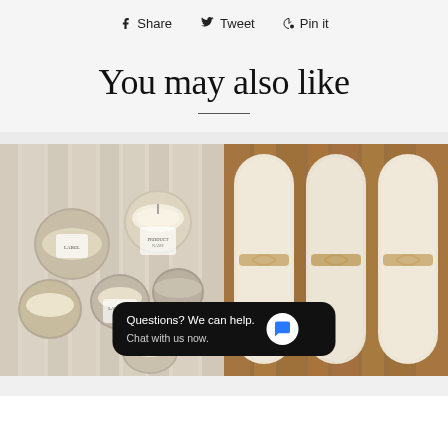Share  Tweet  Pin it
You may also like
[Figure (photo): Photo of multiple candle jars and tins arranged on a whitewashed wood surface]
[Figure (photo): Photo of three cream-colored fabric pads tied with ribbon, laid on wooden planks]
Questions? We can help. Chat with us now.